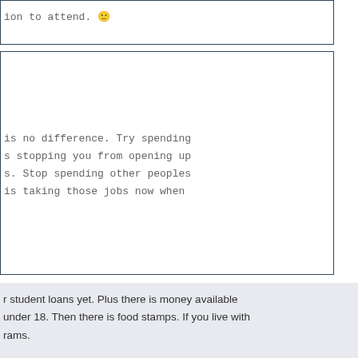ion to attend. 🙂
is no difference. Try spending
s stopping you from opening up
s. Stop spending other peoples
is taking those jobs now when
r student loans yet. Plus there is money available
under 18. Then there is food stamps. If you live with
rams.
Posted on: 2021/10/27 12:10
Re-Elected
#7
s hasn't changed the need for lower wage workers.
s in the US.
45c38217
the-us